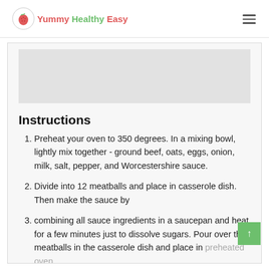Yummy Healthy Easy
Instructions
Preheat your oven to 350 degrees. In a mixing bowl, lightly mix together - ground beef, oats, eggs, onion, milk, salt, pepper, and Worcestershire sauce.
Divide into 12 meatballs and place in casserole dish. Then make the sauce by
combining all sauce ingredients in a saucepan and heat for a few minutes just to dissolve sugars. Pour over the meatballs in the casserole dish and place in preheated oven.